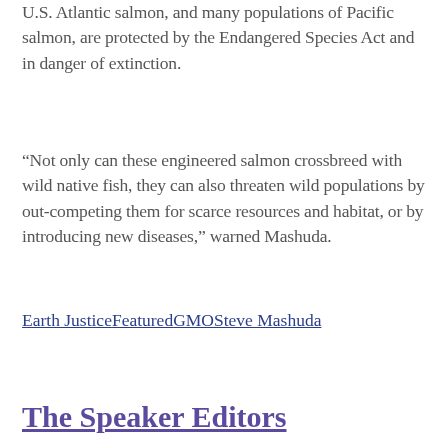U.S. Atlantic salmon, and many populations of Pacific salmon, are protected by the Endangered Species Act and in danger of extinction.
“Not only can these engineered salmon crossbreed with wild native fish, they can also threaten wild populations by out-competing them for scarce resources and habitat, or by introducing new diseases,” warned Mashuda.
Earth JusticeFeaturedGMOSteve Mashuda
The Speaker Editors